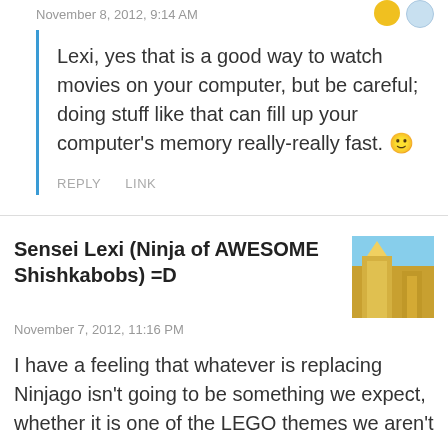November 8, 2012, 9:14 AM
Lexi, yes that is a good way to watch movies on your computer, but be careful; doing stuff like that can fill up your computer's memory really-really fast. 🙂
REPLY   LINK
Sensei Lexi (Ninja of AWESOME Shishkabobs) =D
November 7, 2012, 11:16 PM
I have a feeling that whatever is replacing Ninjago isn't going to be something we expect, whether it is one of the LEGO themes we aren't